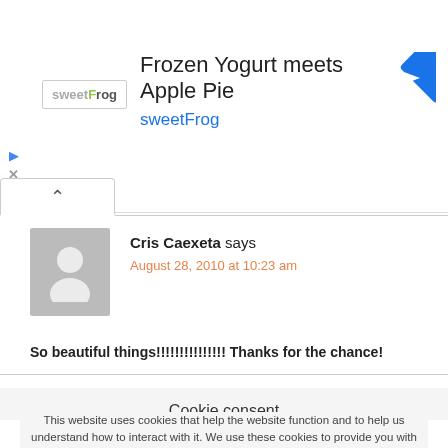[Figure (screenshot): Ad banner for sweetFrog frozen yogurt with logo, title 'Frozen Yogurt meets Apple Pie', subtitle 'sweetFrog', and a blue direction/navigation icon on the right]
Cris Caexeta says
August 28, 2010 at 10:23 am
So beautiful things!!!!!!!!!!!!!!! Thanks for the chance!
Cookie consent
This website uses cookies that help the website function and to help us understand how to interact with it. We use these cookies to provide you with improved and customized user-experience. If you continue to the use of the website, we assume that you are okay with it. More
GOT IT